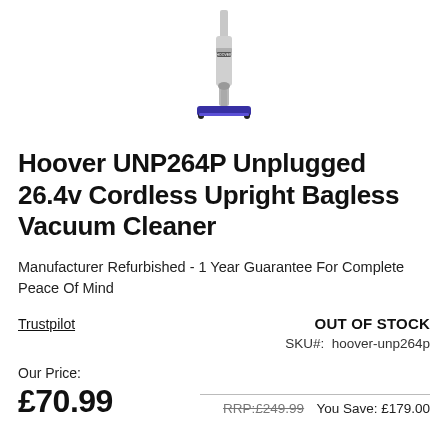[Figure (photo): Hoover UNP264P cordless upright vacuum cleaner product image, shown from front, with blue cleaning head at bottom and slim body extending upward. Partially cropped at top.]
Hoover UNP264P Unplugged 26.4v Cordless Upright Bagless Vacuum Cleaner
Manufacturer Refurbished - 1 Year Guarantee For Complete Peace Of Mind
Trustpilot
OUT OF STOCK
SKU#:  hoover-unp264p
Our Price:
£70.99
RRP:£249.99  You Save: £179.00